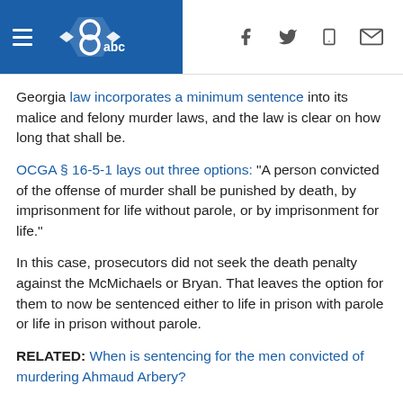KSAT ABC news header with hamburger menu and social icons
Georgia law incorporates a minimum sentence into its malice and felony murder laws, and the law is clear on how long that shall be.
OCGA § 16-5-1 lays out three options: "A person convicted of the offense of murder shall be punished by death, by imprisonment for life without parole, or by imprisonment for life."
In this case, prosecutors did not seek the death penalty against the McMichaels or Bryan. That leaves the option for them to now be sentenced either to life in prison with parole or life in prison without parole.
RELATED: When is sentencing for the men convicted of murdering Ahmaud Arbery?
Whether or not the possibility of parole is incorporated into the sentence will be up to Judge Walmsley.